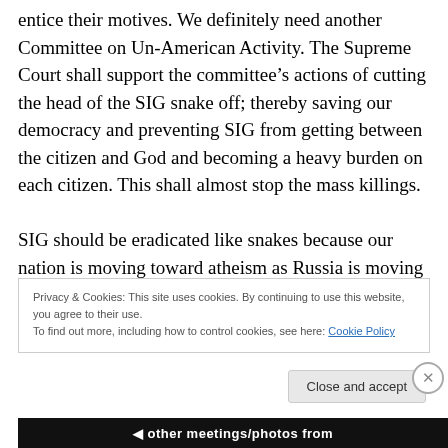entice their motives. We definitely need another Committee on Un-American Activity. The Supreme Court shall support the committee's actions of cutting the head of the SIG snake off; thereby saving our democracy and preventing SIG from getting between the citizen and God and becoming a heavy burden on each citizen. This shall almost stop the mass killings.

SIG should be eradicated like snakes because our nation is moving toward atheism as Russia is moving toward a solid oligarch class. The industrial nations are moving
Privacy & Cookies: This site uses cookies. By continuing to use this website, you agree to their use.
To find out more, including how to control cookies, see here: Cookie Policy
Close and accept